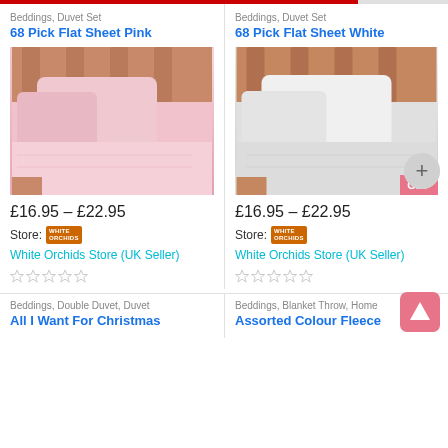Beddings, Duvet Set
68 Pick Flat Sheet Pink
[Figure (photo): Pink flat sheet set with pillows on a wooden bed frame]
£16.95 – £22.95
Store: White Orchids Store (UK Seller)
Beddings, Duvet Set
68 Pick Flat Sheet White
[Figure (photo): White flat sheet set with pillows on a wooden bed frame]
£16.95 – £22.95
Store: White Orchids Store (UK Seller)
Beddings, Double Duvet, Duvet
All I Want For Christmas
Beddings, Blanket Throw, Home
Assorted Colour Fleece